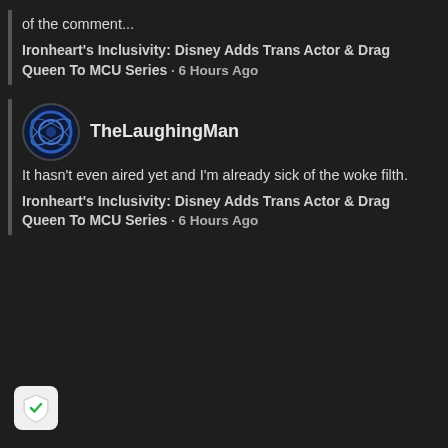of the comment...
Ironheart's Inclusivity: Disney Adds Trans Actor & Drag Queen To MCU Series · 6 Hours Ago
TheLaughingMan
It hasn't even aired yet and I'm already sick of the woke filth.
Ironheart's Inclusivity: Disney Adds Trans Actor & Drag Queen To MCU Series · 6 Hours Ago